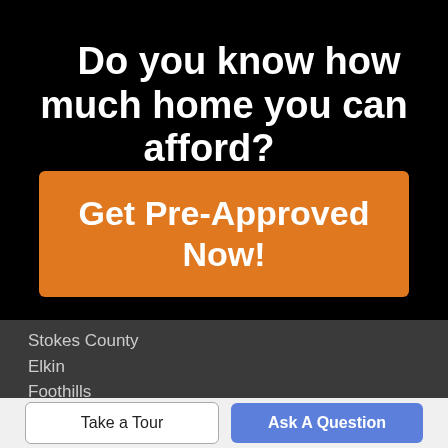Do you know how much home you can afford?
Get Pre-Approved Now!
Stokes County
Elkin
Foothills
Take a Tour
Ask A Question